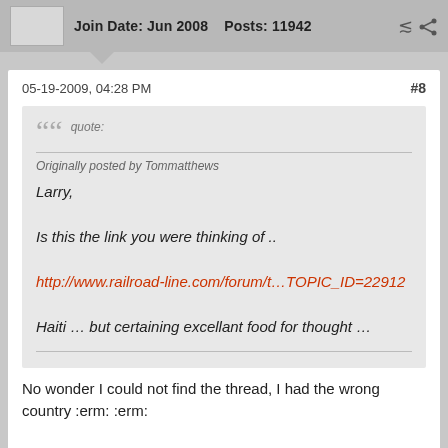Join Date: Jun 2008   Posts: 11942
05-19-2009, 04:28 PM   #8
quote:
Originally posted by Tommatthews
Larry,
Is this the link you were thinking of ..
http://www.railroad-line.com/forum/t...TOPIC_ID=22912
Haiti … but certaining excellant food for thought …
No wonder I could not find the thread, I had the wrong country :erm: :erm:

Thanks Tom